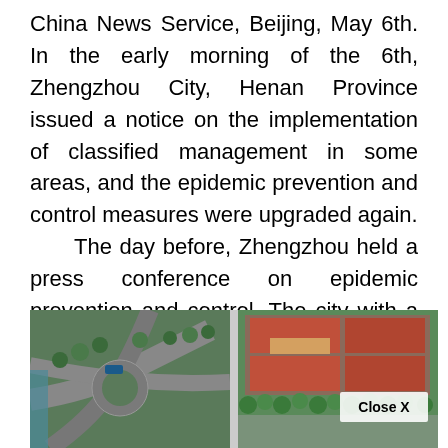China News Service, Beijing, May 6th. In the early morning of the 6th, Zhengzhou City, Henan Province issued a notice on the implementation of classified management in some areas, and the epidemic prevention and control measures were upgraded again. The day before, Zhengzhou held a press conference on epidemic prevention and control. The city with a population of more than 12 million set the
[Figure (photo): Aerial view of a city showing two side-by-side images: on the left, an aerial view of a road interchange with green trees and a bus; on the right, an aerial view of a building complex with red rooftop structures surrounded by trees. A 'Close X' button overlay appears in the lower right of the right image.]